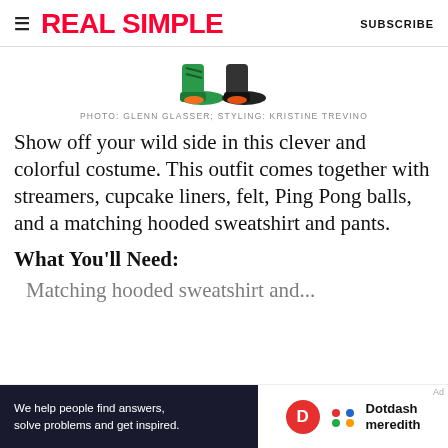REAL SIMPLE   SUBSCRIBE
[Figure (photo): Partial view of colorful costume shoes/feet at bottom of cropped image]
PHOTO: GLENN GLASSER; STYLING: KRISTINE TREVINO
Show off your wild side in this clever and colorful costume. This outfit comes together with streamers, cupcake liners, felt, Ping Pong balls, and a matching hooded sweatshirt and pants.
What You'll Need:
Matching hooded sweatshirt and...